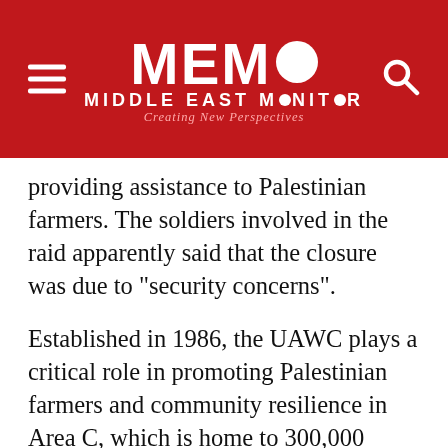MEMO MIDDLE EAST MONITOR - Creating New Perspectives
providing assistance to Palestinian farmers. The soldiers involved in the raid apparently said that the closure was due to "security concerns".
Established in 1986, the UAWC plays a critical role in promoting Palestinian farmers and community resilience in Area C, which is home to 300,000 Palestinians, including Bedouin and herding communities who mostly live in tents, caravans and caves. Under the Oslo Accords the occupied West Bank, including East Jerusalem, is divided into three parts – Areas A, B and C. Area C covers around 60 per cent of